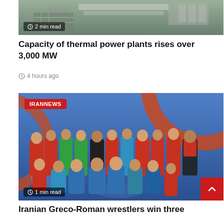[Figure (photo): Industrial facility with pipes and structures, top portion of image showing '2 min read' badge]
Capacity of thermal power plants rises over 3,000 MW
4 hours ago
[Figure (photo): Iranian wrestling team photo on blue and orange wrestling mat, with IRANNEWS badge and '1 min read' badge]
Iranian Greco-Roman wrestlers win three